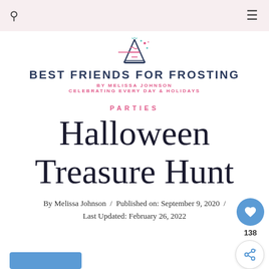Best Friends for Frosting — Navigation bar
[Figure (logo): Party hat logo illustration with confetti, drawn in pink/teal outline style]
BEST FRIENDS FOR FROSTING
BY MELISSA JOHNSON
CELEBRATING EVERY DAY & HOLIDAYS
PARTIES
Halloween Treasure Hunt
By Melissa Johnson / Published on: September 9, 2020 / Last Updated: February 26, 2022